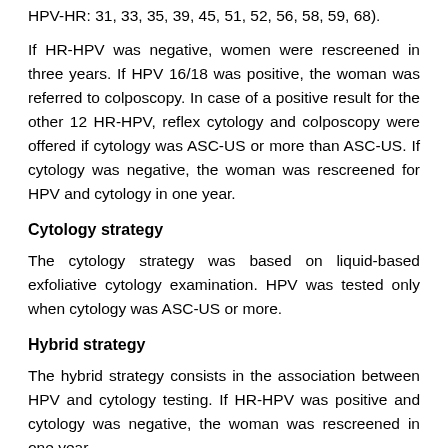HPV-HR: 31, 33, 35, 39, 45, 51, 52, 56, 58, 59, 68).
If HR-HPV was negative, women were rescreened in three years. If HPV 16/18 was positive, the woman was referred to colposcopy. In case of a positive result for the other 12 HR-HPV, reflex cytology and colposcopy were offered if cytology was ASC-US or more than ASC-US. If cytology was negative, the woman was rescreened for HPV and cytology in one year.
Cytology strategy
The cytology strategy was based on liquid-based exfoliative cytology examination. HPV was tested only when cytology was ASC-US or more.
Hybrid strategy
The hybrid strategy consists in the association between HPV and cytology testing. If HR-HPV was positive and cytology was negative, the woman was rescreened in one year.